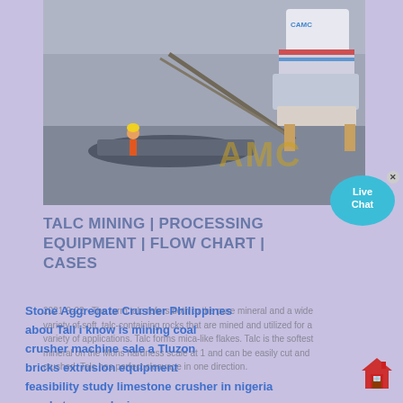[Figure (photo): Industrial mining/dredging scene with worker on boat and large cone crusher machine with AMC logo watermark]
TALC MINING | PROCESSING EQUIPMENT | FLOW CHART | CASES
2021-9-22 · The term talc refers both to the pure mineral and a wide variety of soft, talc-containing rocks that are mined and utilized for a variety of applications. Talc forms mica-like flakes. Talc is the softest mineral on the Mohs hardness scale at 1 and can be easily cut and crushed. Talc has perfect cleavage in one direction.
Stone Aggregate Crusher Philippines
abou Tall i know is mining coal
crusher machine sale a Tluzon
bricks extrusion equipment
feasibility study limestone crusher in nigeria
sand stone analysis
stone quarry pebble